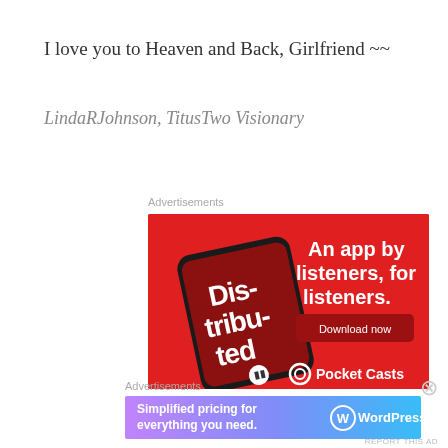I love you to Heaven and Back, Girlfriend ~~
LindaRJohnson, TitusTwo Visionary
Advertisements
[Figure (illustration): Pocket Casts advertisement: red background with a smartphone showing the Distributed podcast app. Text reads 'An app by listeners, for listeners.' with a 'Download now' button and Pocket Casts logo at bottom.]
Advertisements
[Figure (illustration): WordPress.com advertisement: gradient purple/blue background with text 'Simplified pricing for everything you need.' and WordPress.com logo.]